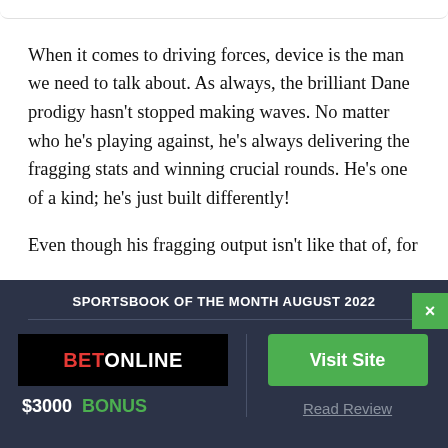When it comes to driving forces, device is the man we need to talk about. As always, the brilliant Dane prodigy hasn't stopped making waves. No matter who he's playing against, he's always delivering the fragging stats and winning crucial rounds. He's one of a kind; he's just built differently!

Even though his fragging output isn't like that of, for instance, ZywOo or S1mple, he contributes in differen
[Figure (screenshot): Sportsbook advertisement panel for BetOnline - Sportsbook of the Month August 2022. Shows BetOnline logo, $3000 BONUS text, Visit Site button, and Read Review link.]